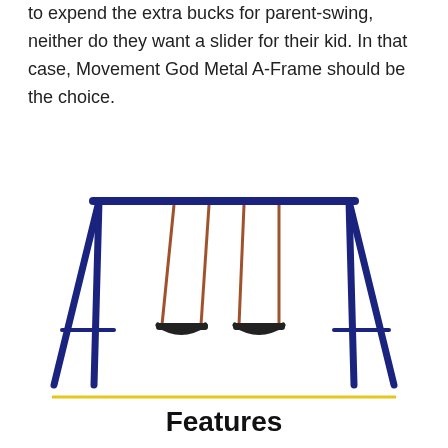to expend the extra bucks for parent-swing, neither do they want a slider for their kid. In that case, Movement God Metal A-Frame should be the choice.
[Figure (illustration): A metal A-frame swing set with two swings, dark navy blue frame with brown/orange chains and black seats, with a yellow horizontal line beneath it.]
Features